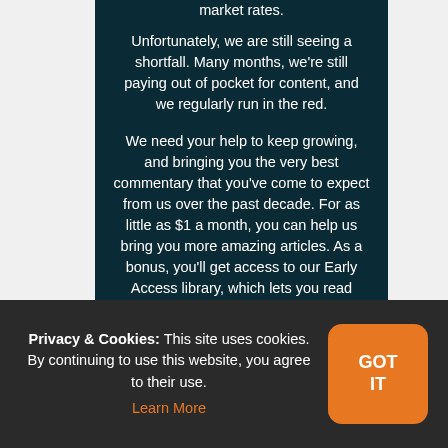market rates.
Unfortunately, we are still seeing a shortfall. Many months, we're still paying out of pocket for content, and we regularly run in the red.
We need your help to keep growing, and bringing you the very best commentary that you've come to expect from us over the past decade. For as little as $1 a month, you can help us bring you more amazing articles. As a bonus, you'll get access to our Early Access library, which lets you read articles at least two weeks before the general public!
Privacy & Cookies: This site uses cookies. By continuing to use this website, you agree to their use. Learn More